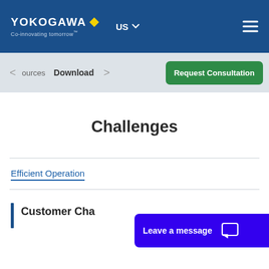[Figure (logo): Yokogawa logo with yellow diamond and tagline 'Co-innovating tomorrow']
Yokogawa | Co-innovating tomorrow | US | Request Consultation
Challenges
Efficient Operation
Customer Cha...
Leave a message